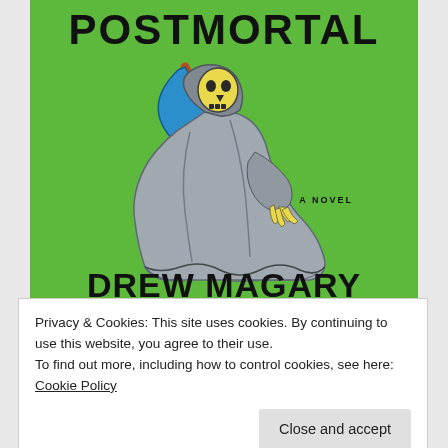[Figure (illustration): Book cover for 'Postmortal' by Drew Magary. Bright green background with a large illustration of a grim reaper figure in a grey hooded robe, hunched over holding a scythe (red handle, blue blade). The skeleton's skull face is visible with yellow highlights. The text 'POSTMORTAL' appears at the top in large bold black letters, 'A NOVEL' in small caps to the right-middle area, and 'DREW MAGARY' in large bold black letters at the bottom.]
Privacy & Cookies: This site uses cookies. By continuing to use this website, you agree to their use.
To find out more, including how to control cookies, see here: Cookie Policy
Close and accept